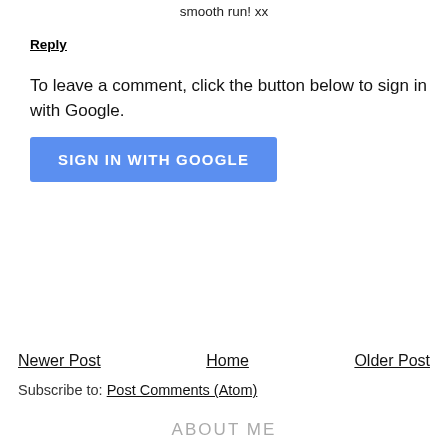smooth run! xx
Reply
To leave a comment, click the button below to sign in with Google.
[Figure (other): Blue 'SIGN IN WITH GOOGLE' button]
Newer Post
Home
Older Post
Subscribe to: Post Comments (Atom)
ABOUT ME